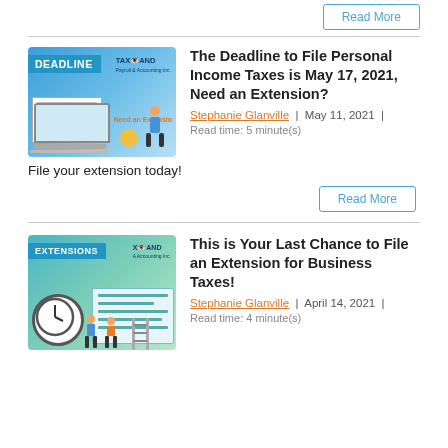[Figure (illustration): Read More button at top right (partially visible)]
[Figure (illustration): Blog post thumbnail for deadline/tax extension article showing DEADLINE badge, TaxAnd logo, document and laptop with 'Need an Extension' text, orange coins and person figure]
The Deadline to File Personal Income Taxes is May 17, 2021, Need an Extension?
Stephanie Glanville | May 11, 2021 | Read time: 5 minute(s)
File your extension today!
[Figure (illustration): Read More button]
[Figure (illustration): Blog post thumbnail for extensions article showing EXTENSIONS badge, XAnd logo, clock, document, plants and people figures]
This is Your Last Chance to File an Extension for Business Taxes!
Stephanie Glanville | April 14, 2021 | Read time: 4 minute(s)